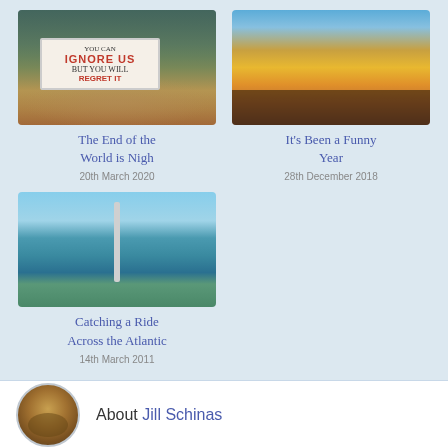[Figure (photo): Protest scene with people holding a sign reading YOU CAN IGNORE US BUT YOU WILL REGRET IT]
The End of the World is Nigh
20th March 2020
[Figure (photo): Silhouettes of group of people against a sunset background]
It's Been a Funny Year
28th December 2018
[Figure (photo): Group of young people on a sailing boat with ocean in background]
Catching a Ride Across the Atlantic
14th March 2011
About Jill Schinas